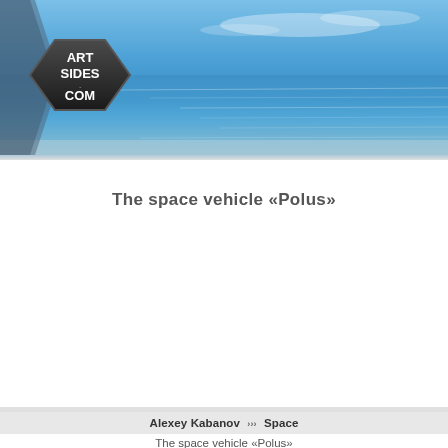ART SIDES .COM [logo banner with ocean background]
The space vehicle «Polus»
Alexey Kabanov >>> Space
The space vehicle «Polus»